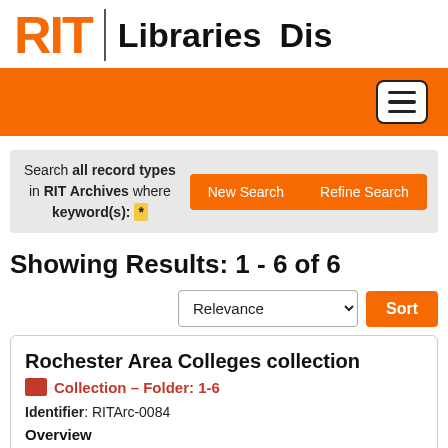RIT | Libraries  Dis
Search all record types in RIT Archives where keyword(s): *
New Search   Refine Search
Showing Results: 1 - 6 of 6
Relevance  Sort
Rochester Area Colleges collection
Collection – Folder: 1-6
Identifier: RITArc-0084
Overview
Materials related to the Rochester Area Colleges, a